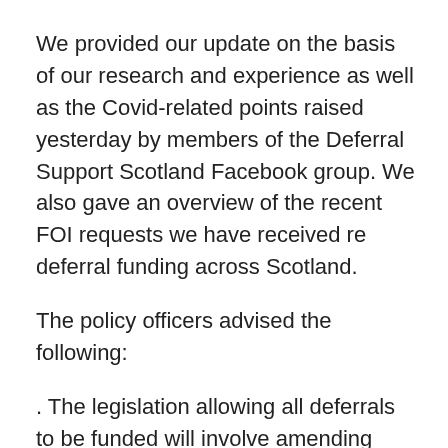We provided our update on the basis of our research and experience as well as the Covid-related points raised yesterday by members of the Deferral Support Scotland Facebook group. We also gave an overview of the recent FOI requests we have received re deferral funding across Scotland.
The policy officers advised the following:
. The legislation allowing all deferrals to be funded will involve amending current legislation – The Provision of Early Learning and Childcare (Specified Children) (Scotland) Order 2014 (https://www.legislation.gov.uk/ssi/2014/196/contents/made). One paragraph will be changed to reflect that all children will be eligible for funding and not just Jan/ Feb born.